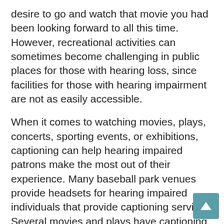desire to go and watch that movie you had been looking forward to all this time. However, recreational activities can sometimes become challenging in public places for those with hearing loss, since facilities for those with hearing impairment are not as easily accessible.
When it comes to watching movies, plays, concerts, sporting events, or exhibitions, captioning can help hearing impaired patrons make the most out of their experience. Many baseball park venues provide headsets for hearing impaired individuals that provide captioning services. Several movies and plays have captioning services available that help enhance the viewing experience for those with hearing loss.